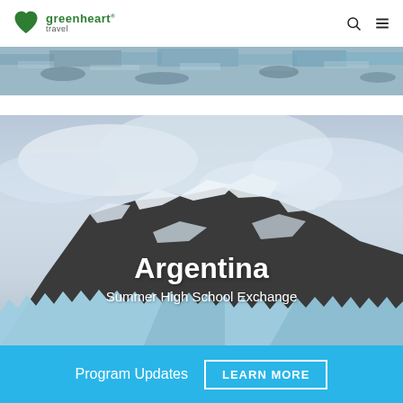greenheart travel
[Figure (photo): Top strip: aerial view of glacier/ice field with blue-grey rocky ice texture]
[Figure (photo): Main hero image: snow-capped mountain (Patagonia/Argentina) with glaciers at base and cloudy sky, with text overlay reading 'Argentina' and 'Summer High School Exchange']
Argentina
Summer High School Exchange
Program Updates  LEARN MORE